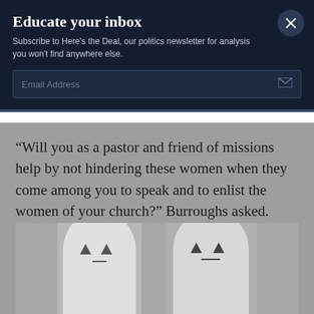Educate your inbox
Subscribe to Here's the Deal, our politics newsletter for analysis you won't find anywhere else.
Email Address
“Will you as a pastor and friend of missions help by not hindering these women when they come among you to speak and to enlist the women of your church?” Burroughs asked.
[Figure (photo): Black and white photo of two figures wearing white hooded robes with face-like markings]